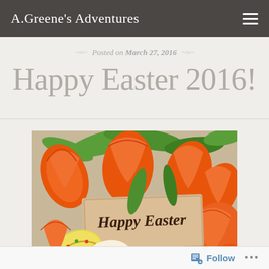A.Greene's Adventures
Posted on March 27, 2016
Happy Easter 2016!
[Figure (photo): Photo of orange tulips and decorated Easter eggs arranged around a handwritten 'Happy Easter' card on a white background]
Follow ...